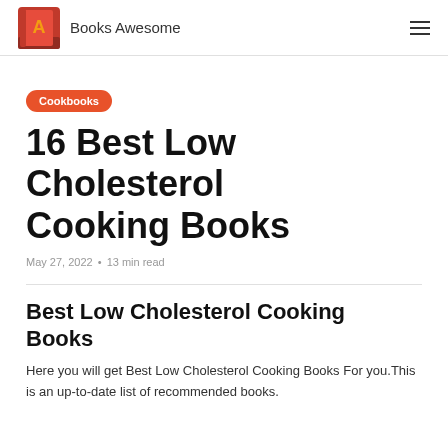Books Awesome
Cookbooks
16 Best Low Cholesterol Cooking Books
May 27, 2022 • 13 min read
Best Low Cholesterol Cooking Books
Here you will get Best Low Cholesterol Cooking Books For you.This is an up-to-date list of recommended books.